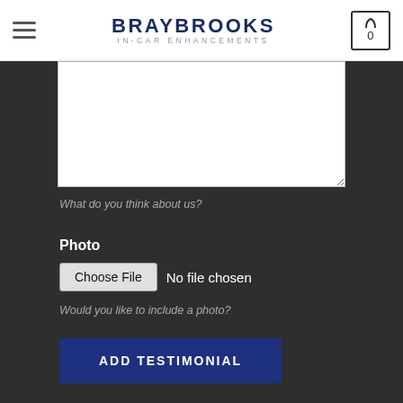BRAYBROOKS IN-CAR ENHANCEMENTS
[Figure (screenshot): Textarea input field for review/testimonial text, empty white box]
What do you think about us?
Photo
Choose File  No file chosen
Would you like to include a photo?
ADD TESTIMONIAL